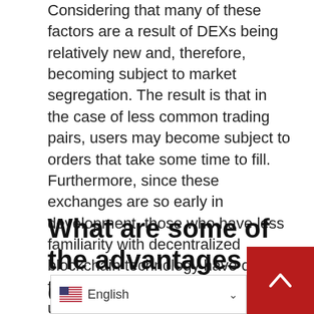Considering that many of these factors are a result of DEXs being relatively new and, therefore, becoming subject to market segregation. The result is that in the case of less common trading pairs, users may become subject to orders that take some time to fill. Furthermore, since these exchanges are so early in development, those who have less familiarity with decentralized blockchain technology have often faced high barriers to entry to begin using them.
What are some of the advantages of decentralized exchanges?
Decentralized exchanges operate without a party, making them non-cu...